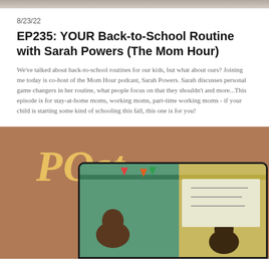[Figure (photo): Photo strip at top showing a person in a patterned top]
8/23/22
EP235: YOUR Back-to-School Routine with Sarah Powers (The Mom Hour)
We've talked about back-to-school routines for our kids, but what about ours? Joining me today is co-host of the Mom Hour podcast, Sarah Powers. Sarah discusses personal game changers in her routine, what people focus on that they shouldn't and more...This episode is for stay-at-home moms, working moms, part-time working moms - if your child is starting some kind of schooling this fall, this one is for you!
[Figure (infographic): Brown/tan background promotional graphic with 'New Post' text in large italic font, THEMOMHOUR.COM URL, and a laptop frame showing a classroom photo at the bottom]